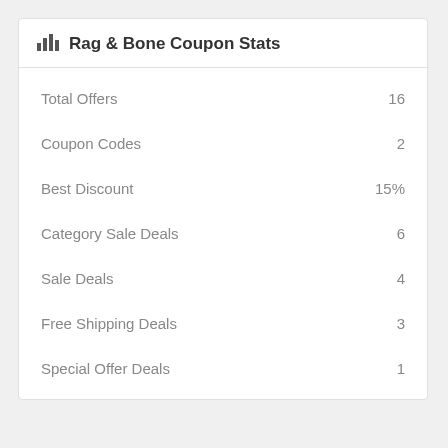Rag & Bone Coupon Stats
| Metric | Value |
| --- | --- |
| Total Offers | 16 |
| Coupon Codes | 2 |
| Best Discount | 15% |
| Category Sale Deals | 6 |
| Sale Deals | 4 |
| Free Shipping Deals | 3 |
| Special Offer Deals | 1 |